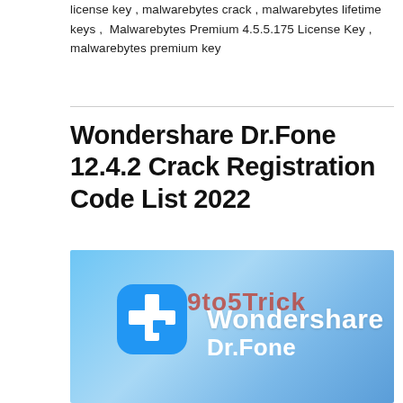license key ,  malwarebytes crack ,  malwarebytes lifetime keys ,  Malwarebytes Premium 4.5.5.175 License Key ,  malwarebytes premium key
Wondershare Dr.Fone 12.4.2 Crack Registration Code List 2022
[Figure (illustration): Wondershare Dr.Fone app promotional image on a blue gradient background. Shows the Dr.Fone white cross/plus logo on a blue rounded square icon on the left, with overlapping watermark text '9to5Trick' in red and the brand name 'Wondershare Dr.Fone' in white to the right.]